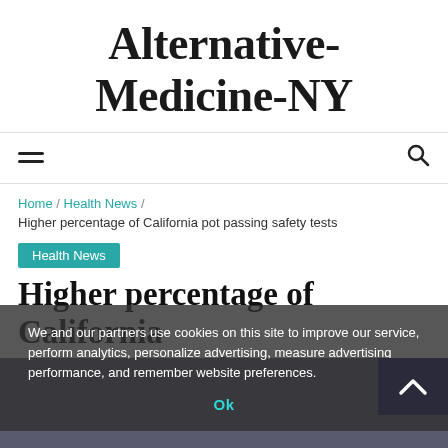Alternative-Medicine-NY
Navigation bar with hamburger menu and search icon
Home / Health News / Higher percentage of California pot passing safety tests
Health News
Higher percentage of California pot passing safety tests
16/12/2018
We and our partners use cookies on this site to improve our service, perform analytics, personalize advertising, measure advertising performance, and remember website preferences.
[Figure (photo): A photograph partially visible at the bottom of the page, appears to show hands, dark background]